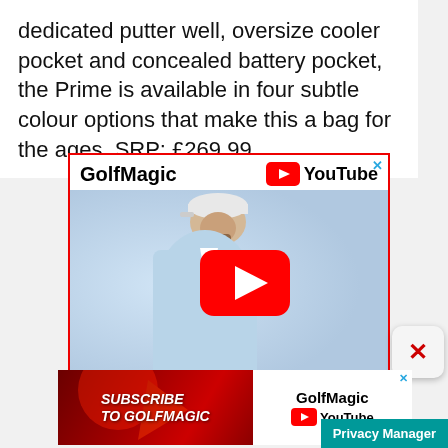dedicated putter well, oversize cooler pocket and concealed battery pocket, the Prime is available in four subtle colour options that make this a bag for the ages. SRP: £269.99
[Figure (screenshot): GolfMagic YouTube advertisement banner showing a golfer (Jon Rahm) and a YouTube play button]
[Figure (screenshot): GolfMagic Subscribe to GolfMagic YouTube banner advertisement with red background and golfer silhouette]